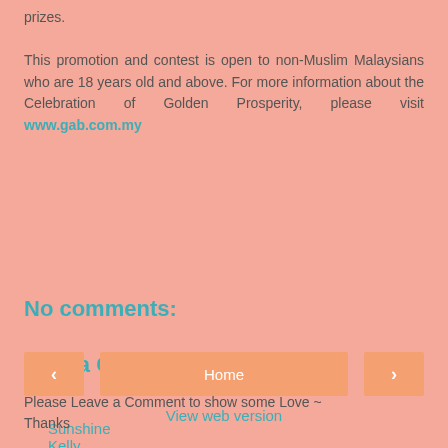prizes.
This promotion and contest is open to non-Muslim Malaysians who are 18 years old and above. For more information about the Celebration of Golden Prosperity, please visit www.gab.com.my
Sunshine Kelly
Share
No comments:
Post a Comment
Please Leave a Comment to show some Love ~ Thanks
Home
View web version